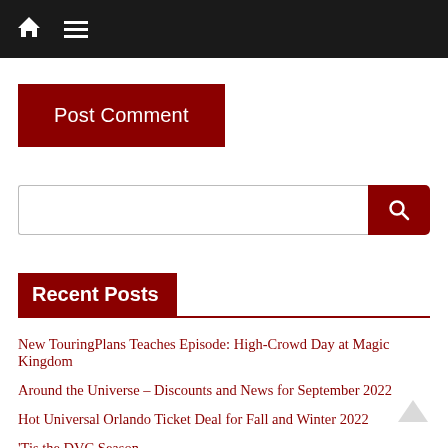Navigation bar with home icon and hamburger menu
Post Comment
[Figure (other): Search input field with dark red search button]
Recent Posts
New TouringPlans Teaches Episode: High-Crowd Day at Magic Kingdom
Around the Universe – Discounts and News for September 2022
Hot Universal Orlando Ticket Deal for Fall and Winter 2022
'Tis the DVC Season